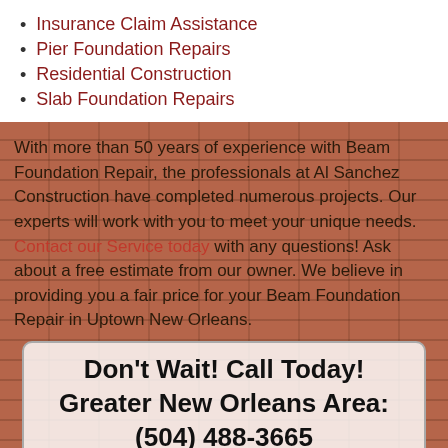Insurance Claim Assistance
Pier Foundation Repairs
Residential Construction
Slab Foundation Repairs
With more than 50 years of experience with Beam Foundation Repair, the professionals at Al Sanchez Construction have completed numerous projects. Our experts will work with you to meet your unique needs. Contact our Service today with any questions! Ask about a free estimate from our owner. We believe in providing you a fair price for your Beam Foundation Repair in Uptown New Orleans.
Don’t Wait! Call Today! Greater New Orleans Area: (504) 488-3665